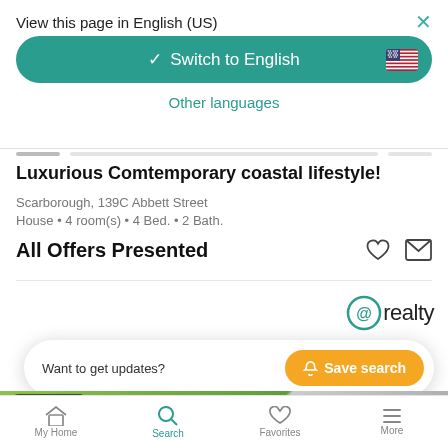View this page in English (US)
[Figure (screenshot): Switch to English button with US flag and teal background, with Other languages link below]
Luxurious Comtemporary coastal lifestyle!
Scarborough, 139C Abbett Street
House • 4 room(s) • 4 Bed. • 2 Bath.
All Offers Presented
[Figure (logo): @realty logo]
Want to get updates?  Save search
7 days ago
My Home  Search  Favorites  More